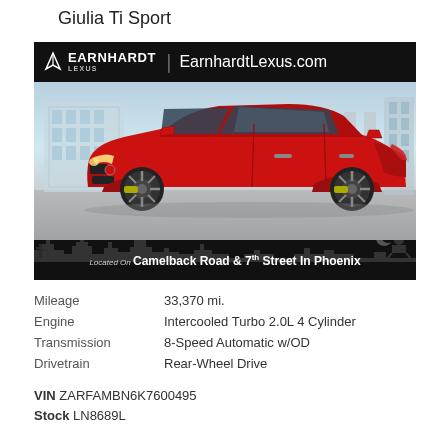Giulia Ti Sport
[Figure (photo): Red Alfa Romeo Giulia Ti Sport sedan photographed from the side in a parking lot. Dealer banner at top reads 'EARNHARDT LEXUS | EarnhardtLexus.com'. Bottom banner reads 'Located On Camelback Road & 7th Street In Phoenix' with Phoenix skyline silhouette.]
| Mileage | 33,370 mi. |
| Engine | Intercooled Turbo 2.0L 4 Cylinder |
| Transmission | 8-Speed Automatic w/OD |
| Drivetrain | Rear-Wheel Drive |
VIN ZARFAMBN6K7600495
Stock LN8689L